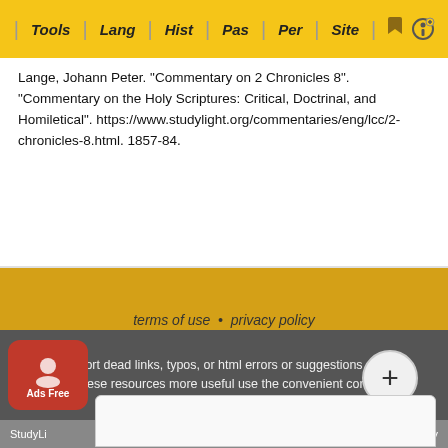Tools | Lang | Hist | Pas | Per | Site
Lange, Johann Peter. "Commentary on 2 Chronicles 8". "Commentary on the Holy Scriptures: Critical, Doctrinal, and Homiletical". https://www.studylight.org/commentaries/eng/lcc/2-chronicles-8.html. 1857-84.
terms of use  •  privacy policy  •  rights and permissions  •  contact sl  •  about sl  •  link to sl
To report dead links, typos, or html errors or suggestions about making these resources more useful use the convenient contact form
StudyLight ... hnology